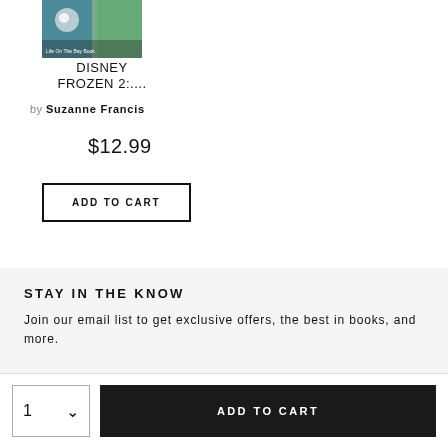[Figure (photo): Book cover for Disney Frozen 2]
DISNEY FROZEN 2:....
by Suzanne Francis
$12.99
ADD TO CART
STAY IN THE KNOW
Join our email list to get exclusive offers, the best in books, and more.
1  ADD TO CART